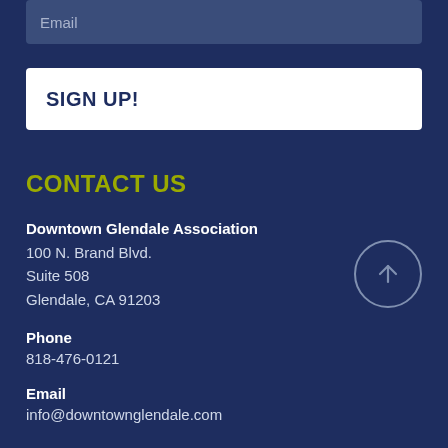Email
SIGN UP!
CONTACT US
Downtown Glendale Association
100 N. Brand Blvd.
Suite 508
Glendale, CA 91203
Phone
818-476-0121
Email
info@downtownglendale.com